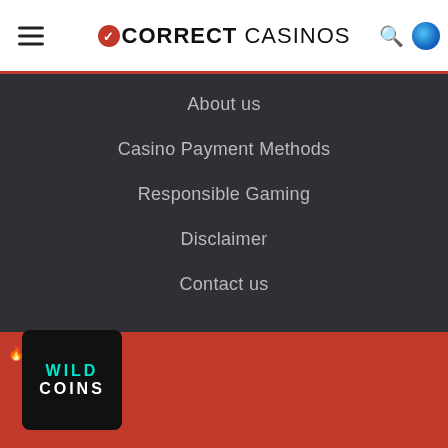CORRECT CASINOS
About us
Casino Payment Methods
Responsible Gaming
Disclaimer
Contact us
[Figure (screenshot): Two image placeholder icons (broken image icons) in pinkish-red boxes]
[Figure (screenshot): Three smaller placeholder icons — two small square and one wide rectangle — in dark red]
Most popular
[Figure (logo): WildCoins casino logo — teal WILD and white COINS text on black background]